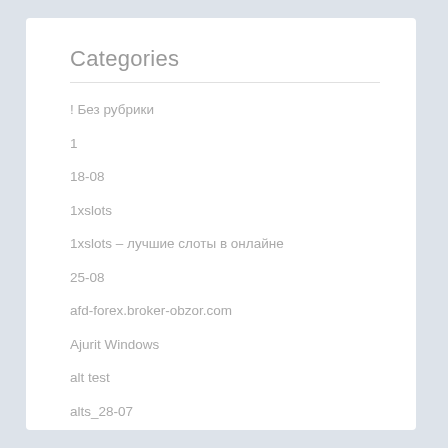Categories
! Без рубрики
1
18-08
1xslots
1xslots – лучшие слоты в онлайне
25-08
afd-forex.broker-obzor.com
Ajurit Windows
alt test
alts_28-07
Amazon Reviews